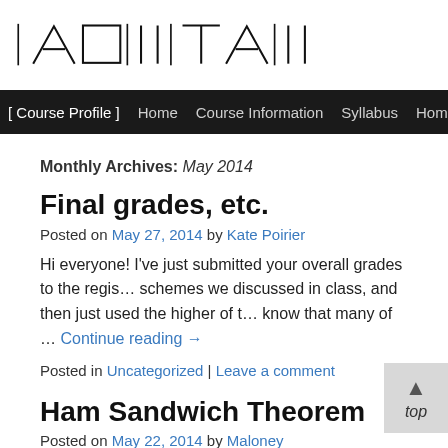[Figure (logo): Course website logo with geometric/symbolic letterforms in black and white]
[ Course Profile ]  Home  Course Information  Syllabus  Home
Monthly Archives: May 2014
Final grades, etc.
Posted on May 27, 2014 by Kate Poirier
Hi everyone! I've just submitted your overall grades to the regis… schemes we discussed in class, and then just used the higher of t… know that many of … Continue reading →
Posted in Uncategorized | Leave a comment
Ham Sandwich Theorem
Posted on May 22, 2014 by Maloney